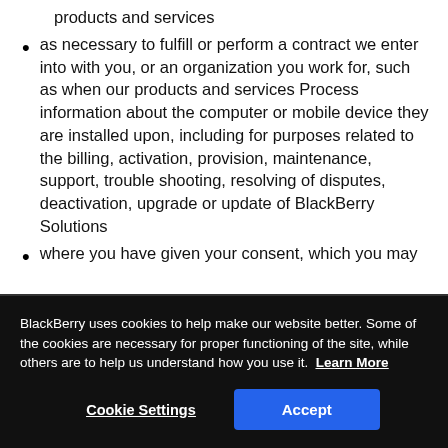products and services
as necessary to fulfill or perform a contract we enter into with you, or an organization you work for, such as when our products and services Process information about the computer or mobile device they are installed upon, including for purposes related to the billing, activation, provision, maintenance, support, trouble shooting, resolving of disputes, deactivation, upgrade or update of BlackBerry Solutions
where you have given your consent, which you may
BlackBerry uses cookies to help make our website better. Some of the cookies are necessary for proper functioning of the site, while others are to help us understand how you use it. Learn More